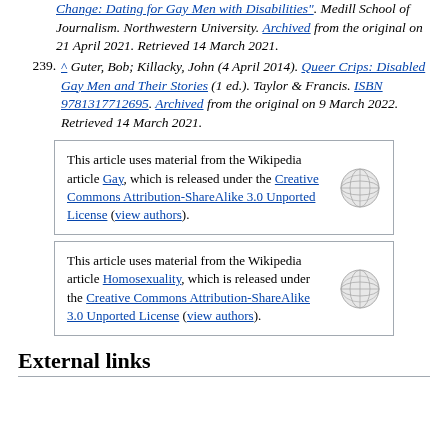Change: Dating for Gay Men with Disabilities". Medill School of Journalism. Northwestern University. Archived from the original on 21 April 2021. Retrieved 14 March 2021.
239. ^ Guter, Bob; Killacky, John (4 April 2014). Queer Crips: Disabled Gay Men and Their Stories (1 ed.). Taylor & Francis. ISBN 9781317712695. Archived from the original on 9 March 2022. Retrieved 14 March 2021.
This article uses material from the Wikipedia article Gay, which is released under the Creative Commons Attribution-ShareAlike 3.0 Unported License (view authors).
This article uses material from the Wikipedia article Homosexuality, which is released under the Creative Commons Attribution-ShareAlike 3.0 Unported License (view authors).
External links